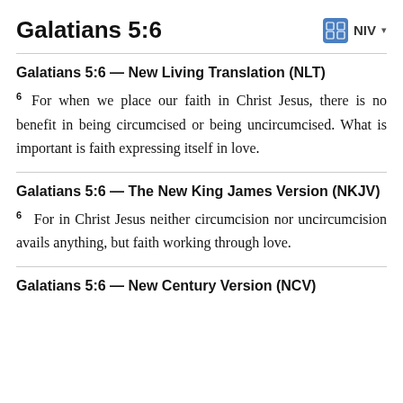Galatians 5:6
Galatians 5:6 — New Living Translation (NLT)
6 For when we place our faith in Christ Jesus, there is no benefit in being circumcised or being uncircumcised. What is important is faith expressing itself in love.
Galatians 5:6 — The New King James Version (NKJV)
6 For in Christ Jesus neither circumcision nor uncircumcision avails anything, but faith working through love.
Galatians 5:6 — New Century Version (NCV)